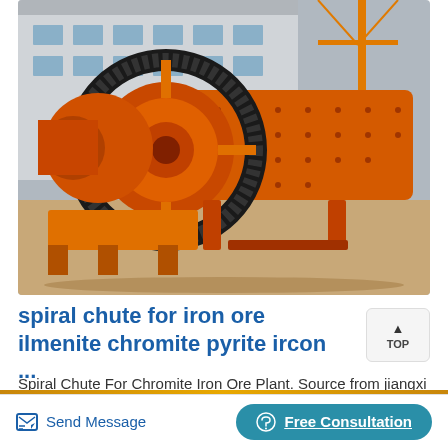[Figure (photo): Large orange industrial ball mill / grinding machine photographed outdoors at a factory yard. The machine features a large gear ring, cylindrical drum, and orange painted metalwork. Industrial cranes and buildings visible in background.]
spiral chute for iron ore ilmenite chromite pyrite ircon ...
Spiral Chute For Chromite Iron Ore Plant. Source from jiangxi hengcheng mining equipment co. ltd.On chromite mining spiral gravity separator
Send Message
Free Consultation